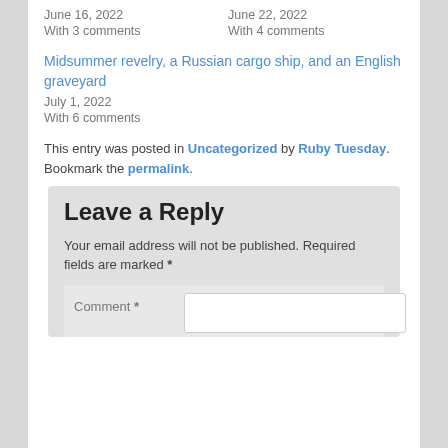June 16, 2022
With 3 comments
June 22, 2022
With 4 comments
Midsummer revelry, a Russian cargo ship, and an English graveyard
July 1, 2022
With 6 comments
This entry was posted in Uncategorized by Ruby Tuesday. Bookmark the permalink.
Leave a Reply
Your email address will not be published. Required fields are marked *
Comment *